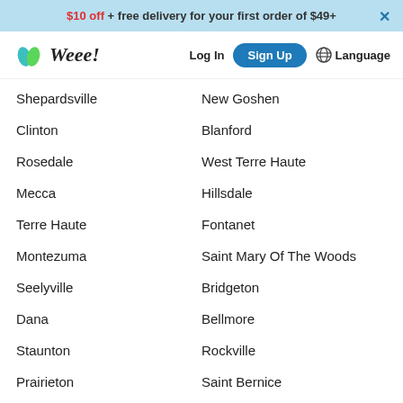$10 off + free delivery for your first order of $49+
[Figure (logo): Weee! grocery delivery logo with teal leaf icon]
Shepardsville
New Goshen
Clinton
Blanford
Rosedale
West Terre Haute
Mecca
Hillsdale
Terre Haute
Fontanet
Montezuma
Saint Mary Of The Woods
Seelyville
Bridgeton
Dana
Bellmore
Staunton
Rockville
Prairieton
Saint Bernice